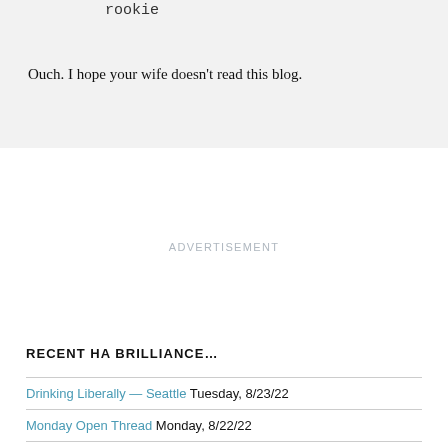rookie
Ouch. I hope your wife doesn't read this blog.
ADVERTISEMENT
RECENT HA BRILLIANCE…
Drinking Liberally — Seattle  Tuesday, 8/23/22
Monday Open Thread  Monday, 8/22/22